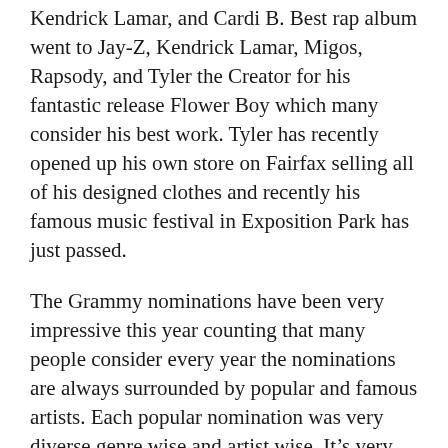Kendrick Lamar, and Cardi B. Best rap album went to Jay-Z, Kendrick Lamar, Migos, Rapsody, and Tyler the Creator for his fantastic release Flower Boy which many consider his best work. Tyler has recently opened up his own store on Fairfax selling all of his designed clothes and recently his famous music festival in Exposition Park has just passed.
The Grammy nominations have been very impressive this year counting that many people consider every year the nominations are always surrounded by popular and famous artists. Each popular nomination was very diverse genre wise and artist wise. It’s very great to see that the Grammys are being more diverse in their nominations and not missing out on important releases of the year.